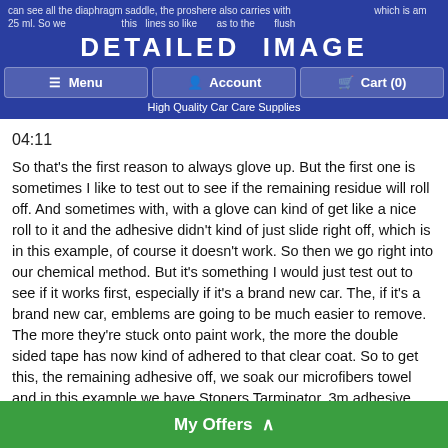DETAILED IMAGE — Menu | Account | Cart (0) — High Quality Car Care Supplies
04:11
So that's the first reason to always glove up. But the first one is sometimes I like to test out to see if the remaining residue will roll off. And sometimes with, with a glove can kind of get like a nice roll to it and the adhesive didn't kind of just slide right off, which is in this example, of course it doesn't work. So then we go right into our chemical method. But it's something I would just test out to see if it works first, especially if it's a brand new car. The, if it's a brand new car, emblems are going to be much easier to remove. The more they're stuck onto paint work, the more the double sided tape has now kind of adhered to that clear coat. So to get this, the remaining adhesive off, we soak our microfibers towel and in this example we have Stoners Tarminator, 3m adhesive remover would be another great choice.
05:08
And what I do is I kind of just go over the, the remaining residue and I kind of just saturate it allowing that chemical to do the work. I haven't I'm just coming in here when I want to
My Offers ∧